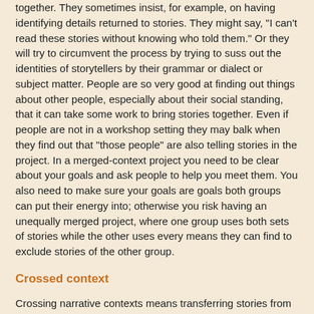together. They sometimes insist, for example, on having identifying details returned to stories. They might say, "I can't read these stories without knowing who told them." Or they will try to circumvent the process by trying to suss out the identities of storytellers by their grammar or dialect or subject matter. People are so very good at finding out things about other people, especially about their social standing, that it can take some work to bring stories together. Even if people are not in a workshop setting they may balk when they find out that "those people" are also telling stories in the project. In a merged-context project you need to be clear about your goals and ask people to help you meet them. You also need to make sure your goals are goals both groups can put their energy into; otherwise you risk having an unequally merged project, where one group uses both sets of stories while the other uses every means they can find to exclude stories of the other group.
Crossed context
Crossing narrative contexts means transferring stories from one context to another, with a corresponding move of a